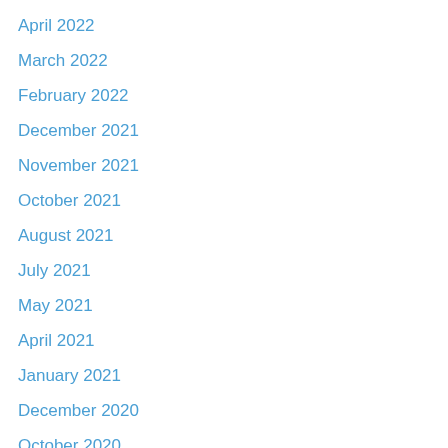April 2022
March 2022
February 2022
December 2021
November 2021
October 2021
August 2021
July 2021
May 2021
April 2021
January 2021
December 2020
October 2020
August 2020
July 2020
June 2020
May 2020
April 2020
March 2020
January 2020